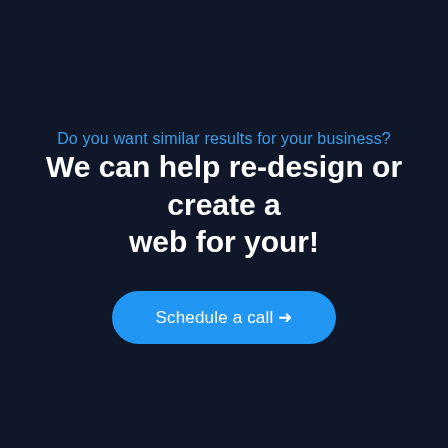Do you want similar results for your business?
We can help re-design or create a web for your!
Schedule a call →